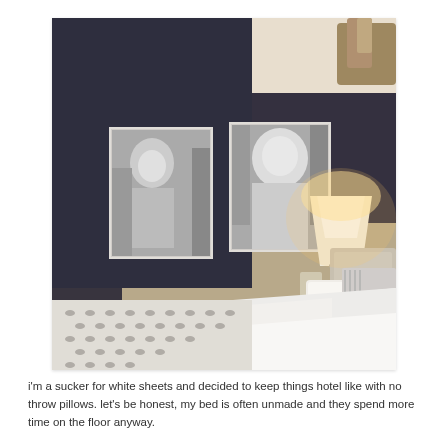[Figure (photo): Interior bedroom photo showing a bed with white sheets and pillows, a dark navy/charcoal accent wall with two framed black and white portrait photographs hanging on it, a bedside table with a white lamp, and a patterned duvet or throw at the foot of the bed.]
i'm a sucker for white sheets and decided to keep things hotel like with no throw pillows. let's be honest, my bed is often unmade and they spend more time on the floor anyway.